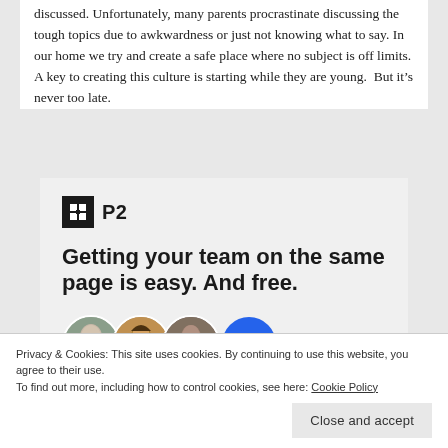discussed. Unfortunately, many parents procrastinate discussing the tough topics due to awkwardness or just not knowing what to say. In our home we try and create a safe place where no subject is off limits. A key to creating this culture is starting while they are young.  But it's never too late.
[Figure (screenshot): P2 advertisement box with logo, headline 'Getting your team on the same page is easy. And free.' and a row of avatar circles including a blue plus circle.]
Privacy & Cookies: This site uses cookies. By continuing to use this website, you agree to their use.
To find out more, including how to control cookies, see here: Cookie Policy
Close and accept